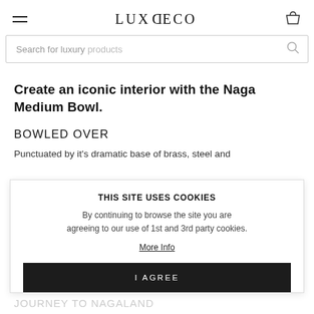LUXDECO
Search for luxury products
Create an iconic interior with the Naga Medium Bowl.
BOWLED OVER
Punctuated by it's dramatic base of brass, steel and nickel-plated, the Naga Medium Bowl is in the...
THIS SITE USES COOKIES
By continuing to browse the site you are agreeing to our use of 1st and 3rd party cookies.
More Info
I AGREE
JOURNEY TO NAGALAND